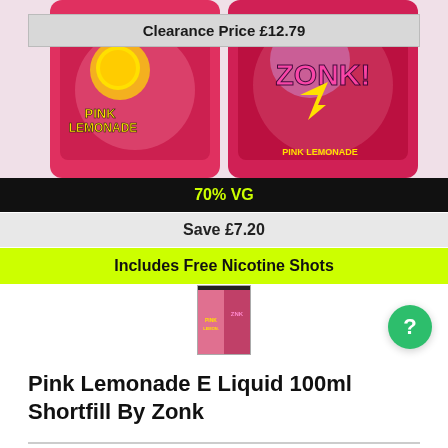[Figure (photo): Product photo of Pink Lemonade E-Liquid 100ml Shortfill by Zonk, showing two colourful cans with pink lemonade branding and the Zonk logo]
Clearance Price £12.79
70% VG
Save £7.20
Includes Free Nicotine Shots
[Figure (photo): Thumbnail image of the Pink Lemonade Zonk product bottles]
Pink Lemonade E Liquid 100ml Shortfill By Zonk